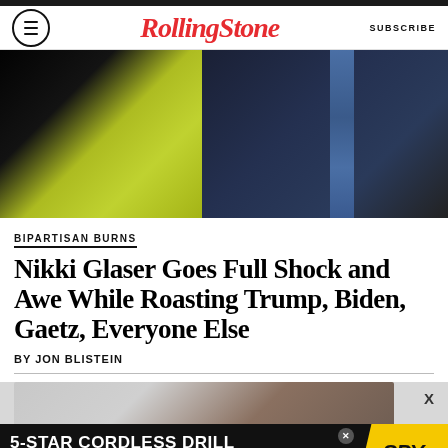Rolling Stone — SUBSCRIBE
[Figure (photo): Two people photographed together: one wearing a bright neon yellow-green dress, another wearing a dark suit with a blue tie and American flag pin]
BIPARTISAN BURNS
Nikki Glaser Goes Full Shock and Awe While Roasting Trump, Biden, Gaetz, Everyone Else
BY JON BLISTEIN
[Figure (photo): Partial photo of a person at a podium or event, partially obscured]
[Figure (other): Advertisement banner: 5-STAR CORDLESS DRILL ON SALE AT AMAZON with SPY logo on yellow background]